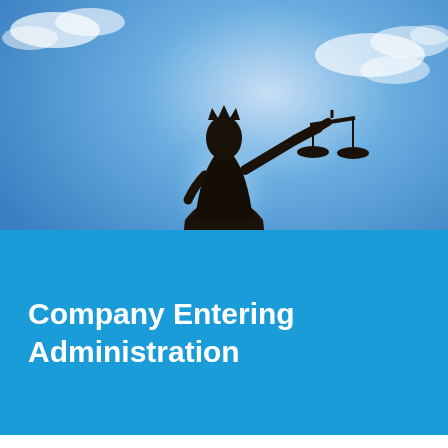[Figure (photo): Silhouette of Lady Justice statue holding scales against a blue sky with white clouds]
Company Entering Administration